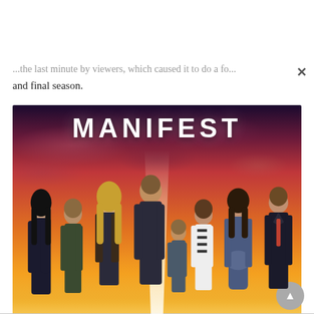...the last minute by viewers, which caused it to do a fourth and final season.
[Figure (photo): Promotional poster for the NBC TV show 'Manifest' showing eight cast members standing against a dramatic orange and red sunset sky with the show title 'MANIFEST' in large white bold letters at the top.]
NBC